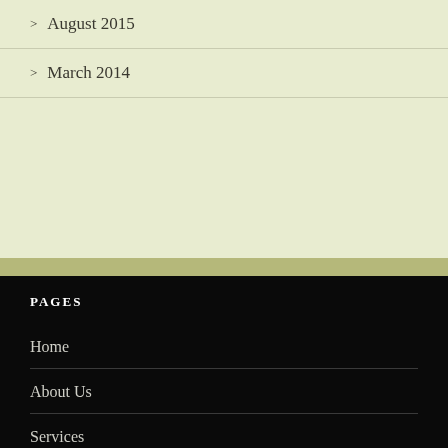> August 2015
> March 2014
PAGES
Home
About Us
Services